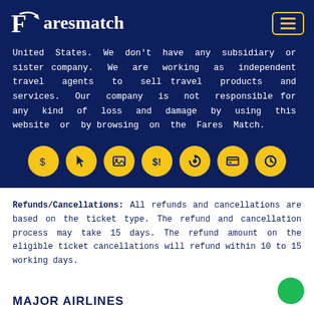Faresmatch
United States. We don't have any subsidiary or sister company. We are working as independent travel agents to sell travel products and services. Our company is not responsible for any kind of loss and damage by using this website or by browsing on the Fares Match.
[Figure (infographic): Seven yellow circular icon buttons on dark blue background representing various travel/service features]
Refunds/Cancellations: All refunds and cancellations are based on the ticket type. The refund and cancellation process may take 15 days. The refund amount on the eligible ticket cancellations will refund within 10 to 15 working days.
MAJOR AIRLINES